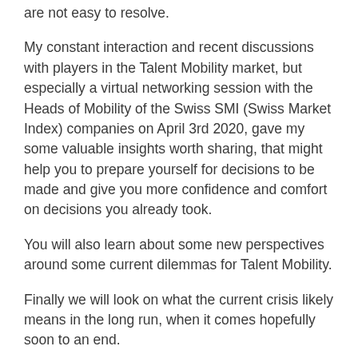are not easy to resolve.
My constant interaction and recent discussions with players in the Talent Mobility market, but especially a virtual networking session with the Heads of Mobility of the Swiss SMI (Swiss Market Index) companies on April 3rd 2020, gave my some valuable insights worth sharing, that might help you to prepare yourself for decisions to be made and give you more confidence and comfort on decisions you already took.
You will also learn about some new perspectives around some current dilemmas for Talent Mobility.
Finally we will look on what the current crisis likely means in the long run, when it comes hopefully soon to an end.
There are basically no differences between industries (all are effected in the same way) with the exception of the so-called system-relevant industries, such as pharma, medical supplies, food and supply chain etc.. While for these reasons, one of my hopes at the